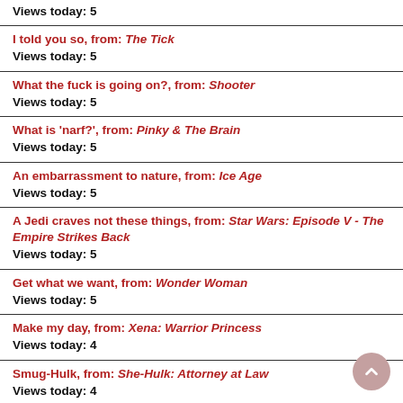Views today: 5
I told you so, from: The Tick
Views today: 5
What the fuck is going on?, from: Shooter
Views today: 5
What is 'narf?', from: Pinky & The Brain
Views today: 5
An embarrassment to nature, from: Ice Age
Views today: 5
A Jedi craves not these things, from: Star Wars: Episode V - The Empire Strikes Back
Views today: 5
Get what we want, from: Wonder Woman
Views today: 5
Make my day, from: Xena: Warrior Princess
Views today: 4
Smug-Hulk, from: She-Hulk: Attorney at Law
Views today: 4